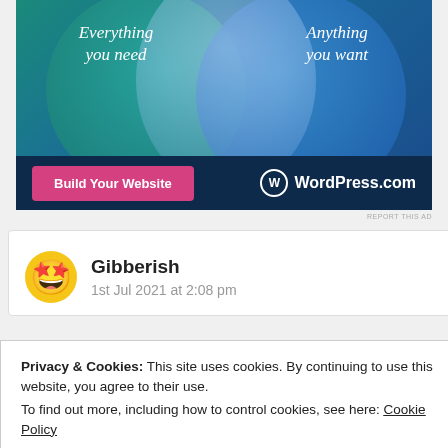[Figure (illustration): WordPress.com advertisement banner with teal and blue overlapping circles on dark background. Left text: 'Everything you need', Right text: 'Anything you want'. Pink button 'Build Your Website' and WordPress.com logo on dark navy bottom bar.]
REPORT THIS AD
Gibberish
1st Jul 2021 at 2:08 pm
Privacy & Cookies: This site uses cookies. By continuing to use this website, you agree to their use.
To find out more, including how to control cookies, see here: Cookie Policy
Close and accept